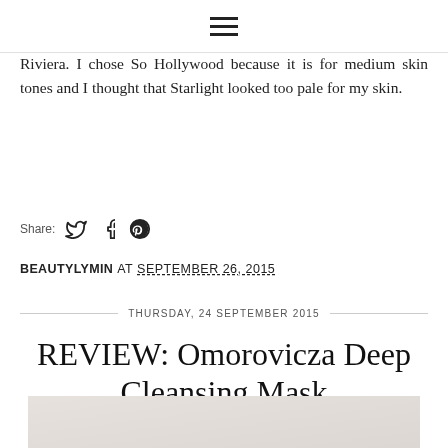☰ (hamburger menu icon)
Riviera. I chose So Hollywood because it is for medium skin tones and I thought that Starlight looked too pale for my skin.
Share:
BEAUTYLYMIN AT SEPTEMBER 26, 2015
THURSDAY, 24 SEPTEMBER 2015
REVIEW: Omorovicza Deep Cleansing Mask
[Figure (photo): Bottom portion of an image, appears to be a light grey/white textured surface, likely a product or marble background.]